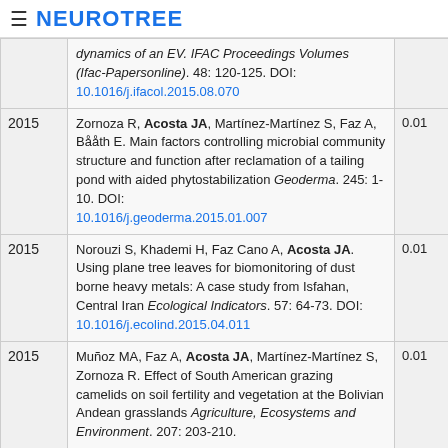≡ NEUROTREE
| Year | Reference | Score |  |
| --- | --- | --- | --- |
|  | dynamics of an EV. IFAC Proceedings Volumes (Ifac-Papersonline). 48: 120-125. DOI: 10.1016/j.ifacol.2015.08.070 |  |  |
| 2015 | Zornoza R, Acosta JA, Martínez-Martínez S, Faz A, Bååth E. Main factors controlling microbial community structure and function after reclamation of a tailing pond with aided phytostabilization Geoderma. 245: 1-10. DOI: 10.1016/j.geoderma.2015.01.007 | 0.01 |  |
| 2015 | Norouzi S, Khademi H, Faz Cano A, Acosta JA. Using plane tree leaves for biomonitoring of dust borne heavy metals: A case study from Isfahan, Central Iran Ecological Indicators. 57: 64-73. DOI: 10.1016/j.ecolind.2015.04.011 | 0.01 |  |
| 2015 | Muñoz MA, Faz A, Acosta JA, Martínez-Martínez S, Zornoza R. Effect of South American grazing camelids on soil fertility and vegetation at the Bolivian Andean grasslands Agriculture, Ecosystems and Environment. 207: 203-210. | 0.01 |  |